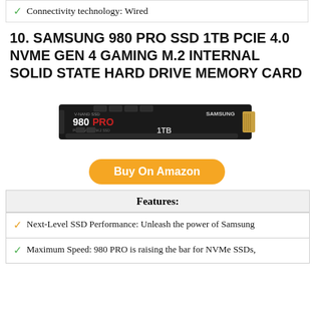Connectivity technology: Wired
10. SAMSUNG 980 PRO SSD 1TB PCIE 4.0 NVME GEN 4 GAMING M.2 INTERNAL SOLID STATE HARD DRIVE MEMORY CARD
[Figure (photo): Samsung 980 PRO 1TB NVMe M.2 SSD drive, black PCB with red and white branding text]
Buy On Amazon
Features:
Next-Level SSD Performance: Unleash the power of Samsung
Maximum Speed: 980 PRO is raising the bar for NVMe SSDs,